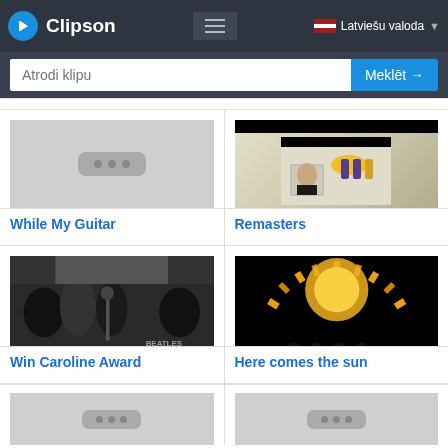Clipson — Latviešu valoda
Atrodi klipu
Meklēt →
[Figure (screenshot): Placeholder thumbnail with three dots icon]
While My Guitar
[Figure (screenshot): Beatles Yellow Submarine animated characters thumbnail]
Remasters
[Figure (photo): Black and white photo of people at event, watermark BEATLES]
Win Caroline Award
[Figure (illustration): Here comes the sun - silhouettes on sunburst background]
Here comes the sun
[Figure (screenshot): Partial placeholder thumbnail bottom left]
[Figure (screenshot): Partial placeholder thumbnail bottom right]